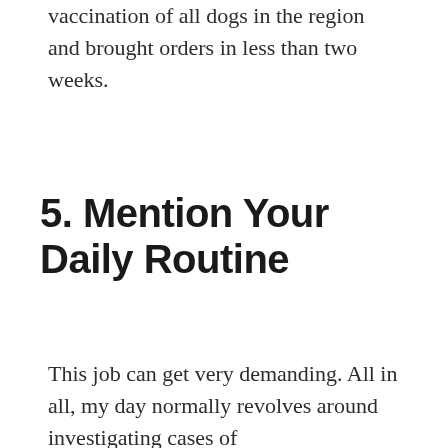vaccination of all dogs in the region and brought orders in less than two weeks.
5. Mention Your Daily Routine
This job can get very demanding. All in all, my day normally revolves around investigating cases of